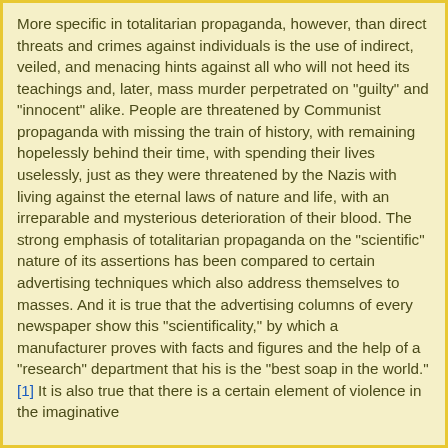More specific in totalitarian propaganda, however, than direct threats and crimes against individuals is the use of indirect, veiled, and menacing hints against all who will not heed its teachings and, later, mass murder perpetrated on "guilty" and "innocent" alike. People are threatened by Communist propaganda with missing the train of history, with remaining hopelessly behind their time, with spending their lives uselessly, just as they were threatened by the Nazis with living against the eternal laws of nature and life, with an irreparable and mysterious deterioration of their blood. The strong emphasis of totalitarian propaganda on the "scientific" nature of its assertions has been compared to certain advertising techniques which also address themselves to masses. And it is true that the advertising columns of every newspaper show this "scientificality," by which a manufacturer proves with facts and figures and the help of a "research" department that his is the "best soap in the world." [1] It is also true that there is a certain element of violence in the imaginative